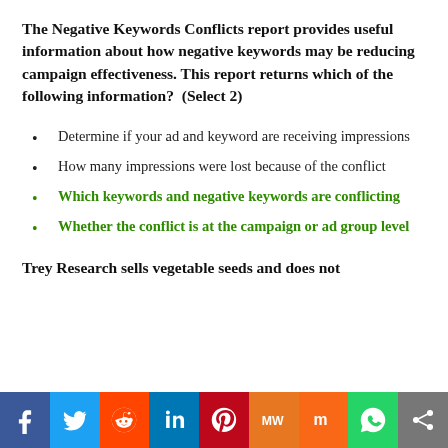The Negative Keywords Conflicts report provides useful information about how negative keywords may be reducing campaign effectiveness. This report returns which of the following information?  (Select 2)
Determine if your ad and keyword are receiving impressions
How many impressions were lost because of the conflict
Which keywords and negative keywords are conflicting
Whether the conflict is at the campaign or ad group level
Trey Research sells vegetable seeds and does not